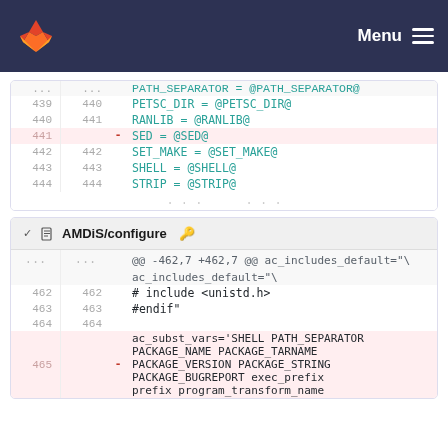GitLab — Menu
Diff block 1: lines 439-444 of a Makefile
439 440 PETSC_DIR = @PETSC_DIR@
440 441 RANLIB = @RANLIB@
441 [removed] SED = @SED@
442 442 SET_MAKE = @SET_MAKE@
443 443 SHELL = @SHELL@
444 444 STRIP = @STRIP@
AMDiS/configure
Diff block 2: AMDiS/configure
@@ -462,7 +462,7 @@ ac_includes_default="\
462 462 # include <unistd.h>
463 463 #endif"
464 464 [blank]
465 [removed] ac_subst_vars='SHELL PATH_SEPARATOR PACKAGE_NAME PACKAGE_TARNAME PACKAGE_VERSION PACKAGE_STRING PACKAGE_BUGREPORT exec_prefix prefix program_transform_name